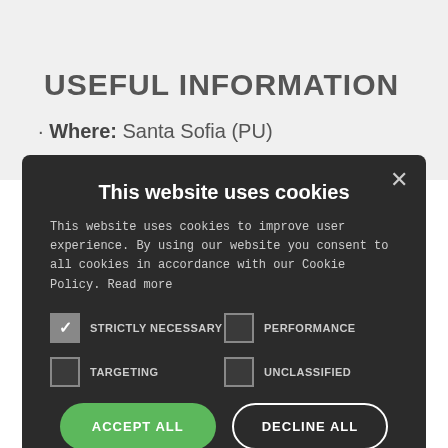USEFUL INFORMATION
· Where: Santa Sofia (PU)
This website uses cookies
This website uses cookies to improve user experience. By using our website you consent to all cookies in accordance with our Cookie Policy. Read more
STRICTLY NECESSARY | PERFORMANCE | TARGETING | UNCLASSIFIED
ACCEPT ALL | DECLINE ALL
⚙ SHOW DETAILS
POWERED BY COOKIE-SCRIPT